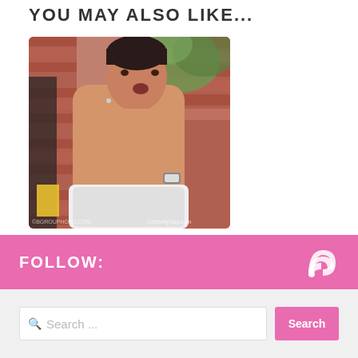YOU MAY ALSO LIKE...
[Figure (photo): Shirtless man outdoors near brick wall holding white cloth, with watermark 'CelebrityGay.com']
Jack Tweed Shirtless
2017-06-24
FOLLOW: